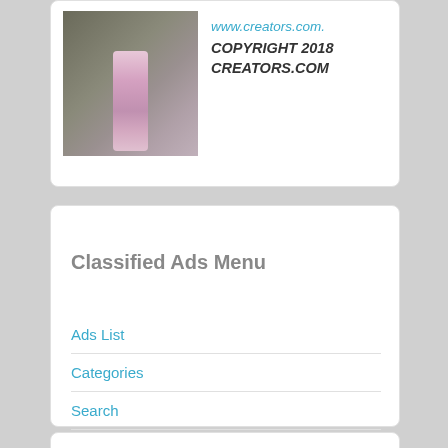[Figure (photo): Person in suit with pink tie, cropped photo]
www.creators.com.
COPYRIGHT 2018 CREATORS.COM
Classified Ads Menu
Ads List
Categories
Search
All Tags
Abortion 131
Political Cartoons 118